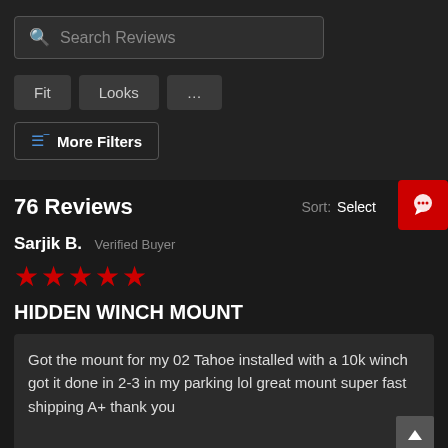Search Reviews
Fit
Looks
...
More Filters
76 Reviews  Sort: Select
Sarjik B.  Verified Buyer
[Figure (other): 4 red stars rating]
HIDDEN WINCH MOUNT
Got the mount for my 02 Tahoe installed with a 10k winch got it done in 2-3 in my parking lol great mount super fast shipping A+ thank you